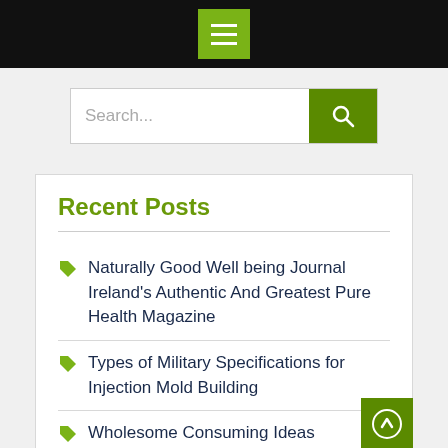[Figure (screenshot): Black top navigation bar with a green hamburger menu button containing three white horizontal lines]
[Figure (screenshot): Search bar with placeholder text 'Search...' and a green search button with magnifying glass icon]
Recent Posts
Naturally Good Well being Journal Ireland's Authentic And Greatest Pure Health Magazine
Types of Military Specifications for Injection Mold Building
Wholesome Consuming Ideas
Buffalo Healthy Living Journal